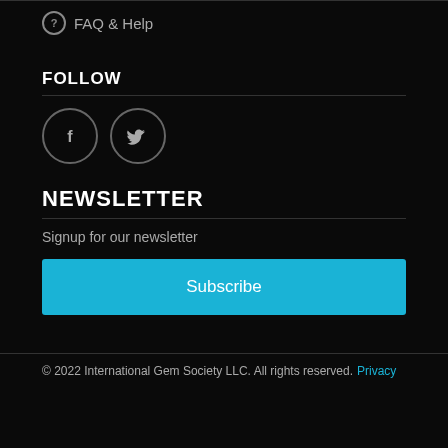FAQ & Help
FOLLOW
[Figure (illustration): Two circular social media icon buttons: Facebook (f) and Twitter (bird icon), outlined circles on dark background]
NEWSLETTER
Signup for our newsletter
Subscribe
© 2022 International Gem Society LLC. All rights reserved. Privacy